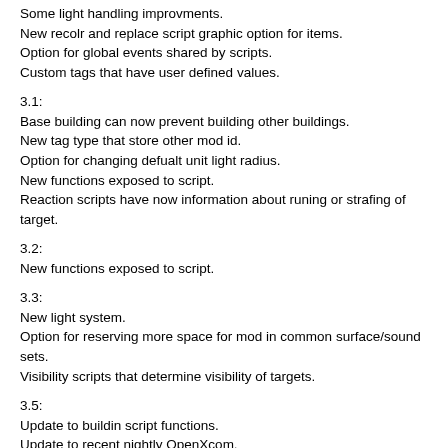Some light handling improvments.
New recolr and replace script graphic option for items.
Option for global events shared by scripts.
Custom tags that have user defined values.
3.1:
Base building can now prevent building other buildings.
New tag type that store other mod id.
Option for changing defualt unit light radius.
New functions exposed to script.
Reaction scripts have now information about runing or strafing of target.
3.2:
New functions exposed to script.
3.3:
New light system.
Option for reserving more space for mod in common surface/sound sets.
Visibility scripts that determine visibility of targets.
3.5:
Update to buildin script functions.
Update to recent nightly OpenXcom.
3.6:
Config for new lighting system.
New map script options made by ohartenstein23.
New scripts for items and units.
Add option for grenades to explode in hand.